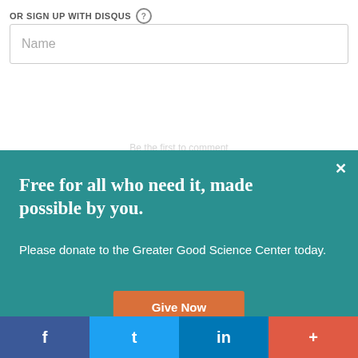OR SIGN UP WITH DISQUS ?
Name
Be the first to comment
Free for all who need it, made possible by you.
Please donate to the Greater Good Science Center today.
Give Now
[Figure (screenshot): Social share bar with Facebook, Twitter, LinkedIn, and a plus button]